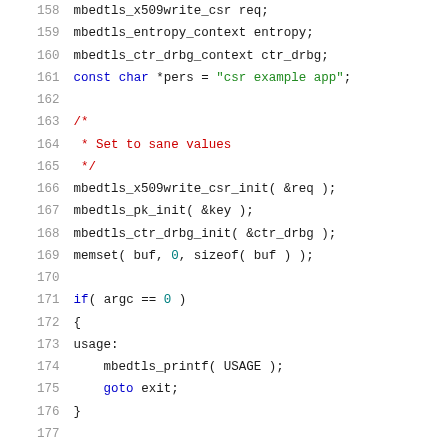[Figure (screenshot): Source code listing lines 158-178+ showing C code with syntax highlighting. Line numbers in grey on left, code in black/blue/green/red monospace font.]